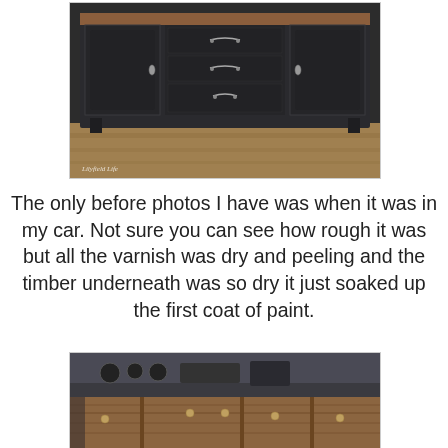[Figure (photo): A dark-painted sideboard/buffet with ornate hardware, three center drawers and two side cabinet doors, sitting on a wood floor. Watermark reads 'Lilyfield Life'.]
The only before photos I have was when it was in my car. Not sure you can see how rough it was but all the varnish was dry and peeling and the timber underneath was so dry it just soaked up the first coat of paint.
[Figure (photo): A wooden sideboard/dresser being transported in the back of a car, viewed from inside the car with dashboard visible, showing the raw wood surface with hardware knobs.]